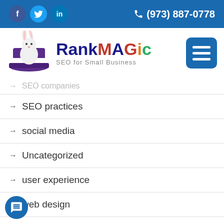f  in  (973) 887-0778
[Figure (logo): RankMagic logo with rabbit in magician's hat. Text reads RankMagic SEO for Small Business]
→ SEO companies (partially visible, struck through)
→ SEO practices
→ social media
→ Uncategorized
→ user experience
→ web design
→ Yahoo